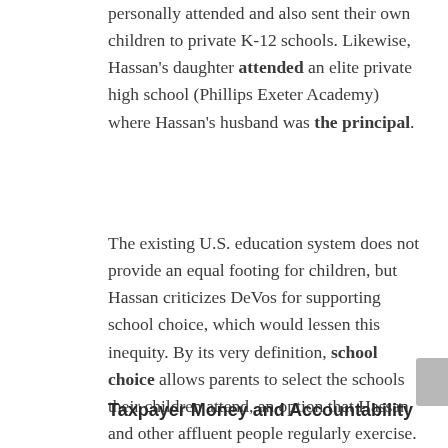personally attended and also sent their own children to private K-12 schools. Likewise, Hassan's daughter attended an elite private high school (Phillips Exeter Academy) where Hassan's husband was the principal.
The existing U.S. education system does not provide an equal footing for children, but Hassan criticizes DeVos for supporting school choice, which would lessen this inequity. By its very definition, school choice allows parents to select the schools their children attend, an option that Hassan and other affluent people regularly exercise.
Taxpayer Money and Accountability